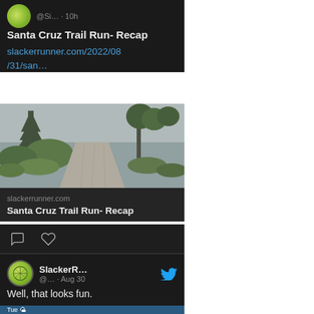[Figure (screenshot): Top of tweet card showing avatar and metadata: @Si... · 10h]
Santa Cruz Trail Run- Recap
slackerrunner.com/2022/08/31/san…
[Figure (photo): Trail photo showing a misty forest path with ferns and trees on both sides]
slackerrunner.com
Santa Cruz Trail Run- Recap
[Figure (screenshot): Social action bar with comment and heart icons]
[Figure (screenshot): Second tweet card: SlackerR... avatar, @... · Aug 30, Twitter bird icon]
Well, that looks fun.
Tue 🌤